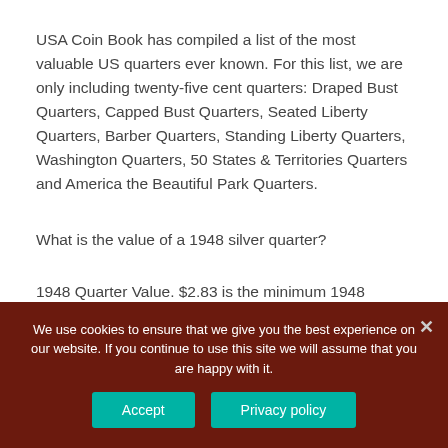USA Coin Book has compiled a list of the most valuable US quarters ever known. For this list, we are only including twenty-five cent quarters: Draped Bust Quarters, Capped Bust Quarters, Seated Liberty Quarters, Barber Quarters, Standing Liberty Quarters, Washington Quarters, 50 States & Territories Quarters and America the Beautiful Park Quarters.
What is the value of a 1948 silver quarter?
1948 Quarter Value. $2.83 is the minimum 1948 quarter value. It is the underlining silver price moving
We use cookies to ensure that we give you the best experience on our website. If you continue to use this site we will assume that you are happy with it.